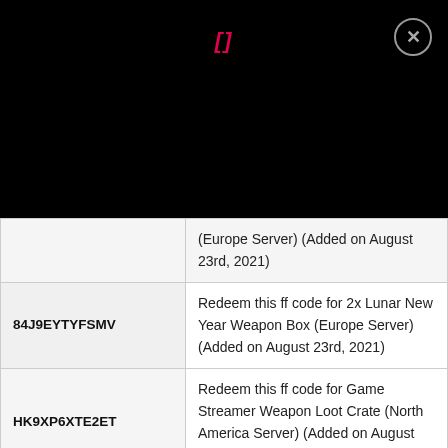[Figure (screenshot): Black header bar with pink/red italic bracket symbol '[]' centered and a close button (circle with X) in top right corner]
| Code | Description |
| --- | --- |
|  | (Europe Server) (Added on August 23rd, 2021) |
| 84J9EYTYFSMV | Redeem this ff code for 2x Lunar New Year Weapon Box (Europe Server) (Added on August 23rd, 2021) |
| HK9XP6XTE2ET | Redeem this ff code for Game Streamer Weapon Loot Crate (North America Server) (Added on August 23rd, 2021) |
|  | Redeem this ff code for Swallowtail |